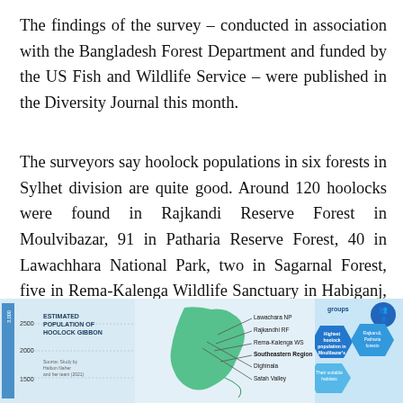The findings of the survey – conducted in association with the Bangladesh Forest Department and funded by the US Fish and Wildlife Service – were published in the Diversity Journal this month.
The surveyors say hoolock populations in six forests in Sylhet division are quite good. Around 120 hoolocks were found in Rajkandi Reserve Forest in Moulvibazar, 91 in Patharia Reserve Forest, 40 in Lawachhara National Park, two in Sagarnal Forest, five in Rema-Kalenga Wildlife Sanctuary in Habiganj, and nine in Satchhari National Park.
[Figure (infographic): Infographic strip showing estimated population of hoolock gibbon with a bar chart on the left (values 1500, 2000, 2500 on y-axis, with a value of 3,000+ shown), a map of Bangladesh in the center with labeled forest locations (Lawachara NP, Rajkandhi RF, Rema-Kalenga WS, Southeastern Region, Dighinala, Satah Valley), and hexagonal info boxes on the right about groups and highest hoolock population in Moulibazar's Rajkandi, Patharia forests.]